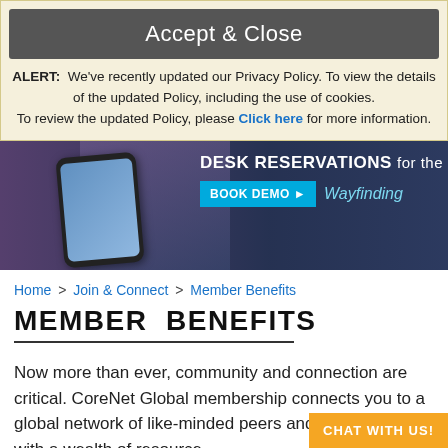Accept & Close
ALERT: We've recently updated our Privacy Policy. To view the details of the updated Policy, including the use of cookies. To review the updated Policy, please Click here for more information.
[Figure (photo): Banner image showing a person holding a smartphone with a desk reservation app, with office workers in the background. Text overlay reads: DESK RESERVATIONS for the h[ybrid workplace], BOOK DEMO▶, Wayfinding]
Home > Join & Connect > Member Benefits
MEMBER BENEFITS
Now more than ever, community and connection are critical. CoreNet Global membership connects you to a global network of like-minded peers and provides you with a wealth of resources to find solutions to whatever challenge yo[u face].